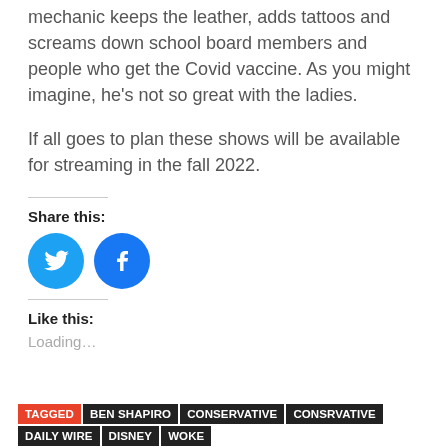mechanic keeps the leather, adds tattoos and screams down school board members and people who get the Covid vaccine. As you might imagine, he's not so great with the ladies.
If all goes to plan these shows will be available for streaming in the fall 2022.
Share this:
[Figure (illustration): Twitter and Facebook social share icon buttons — circular blue icons with bird and f logos respectively.]
Like this:
Loading...
TAGGED BEN SHAPIRO CONSERVATIVE CONSRVATIVE DAILY WIRE DISNEY WOKE